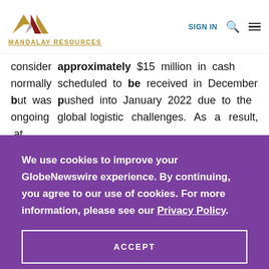MANDALAY RESOURCES | SIGN IN
consider approximately $15 million in cash normally scheduled to be received in December but was pushed into January 2022 due to the ongoing global logistic challenges. As a result, at
We use cookies to improve your GlobeNewswire experience. By continuing, you agree to our use of cookies. For more information, please see our Privacy Policy.
ACCEPT